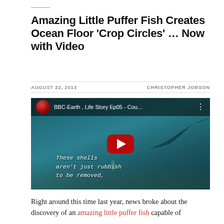Amazing Little Puffer Fish Creates Ocean Floor ‘Crop Circles’ … Now with Video
AUGUST 22, 2013    CHRISTOPHER JOBSON
[Figure (screenshot): YouTube video thumbnail showing BBC-Earth Life Story Ep05 - Cou... with underwater ocean floor scene. A red YouTube play button is centered. Subtitle text reads: These shells aren't just rubbish to be removed,]
Right around this time last year, news broke about the discovery of an amazing little puffer fish capable of